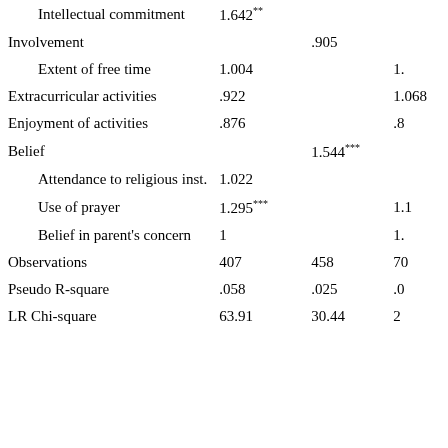| Variable | Col1 | Col2 | Col3 |
| --- | --- | --- | --- |
| Intellectual commitment | 1.642** |  |  |
| Involvement |  | .905 |  |
| Extent of free time | 1.004 |  | 1. |
| Extracurricular activities | .922 |  | 1.068 |
| Enjoyment of activities | .876 |  | .8 |
| Belief |  | 1.544*** |  |
| Attendance to religious inst. | 1.022 |  |  |
| Use of prayer | 1.295*** |  | 1.1 |
| Belief in parent's concern | 1 |  | 1. |
| Observations | 407 | 458 | 70 |
| Pseudo R-square | .058 | .025 | .0 |
| LR Chi-square | 63.91 | 30.44 | 2 |